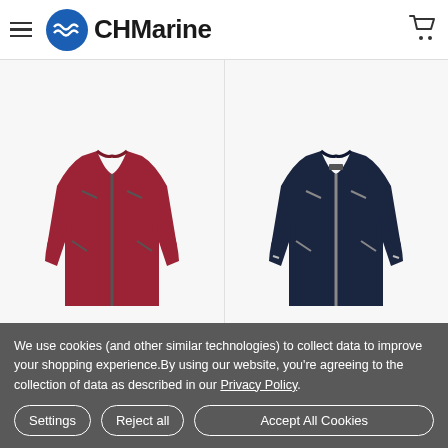CH Marine
[Figure (photo): Red Musto Sardinia BR1 Jacket 2.0 on white background]
[Figure (photo): Navy Musto Sardinia BR1 Jacket 2.0 on white background]
CHOOSE OPTIONS
CHOOSE OPTIONS
Musto Sardinia BR1 Jacket 2.0 -
Musto Sardinia BR1 Jacket 2.0 -
We use cookies (and other similar technologies) to collect data to improve your shopping experience.By using our website, you're agreeing to the collection of data as described in our Privacy Policy.
Settings
Reject all
Accept All Cookies